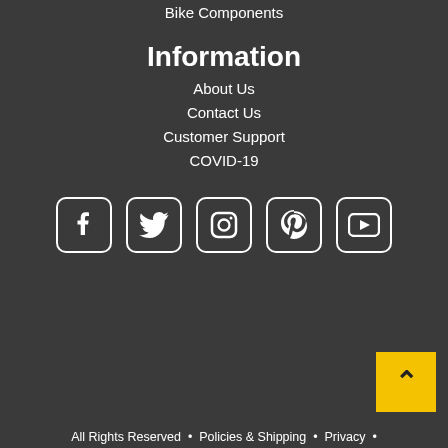Bike Components
Information
About Us
Contact Us
Customer Support
COVID-19
[Figure (infographic): Social media icons: Facebook, Twitter, Instagram, Pinterest, YouTube]
[Figure (other): Back to top button with up-arrow chevron on yellow background]
All Rights Reserved · Policies & Shipping · Privacy ·